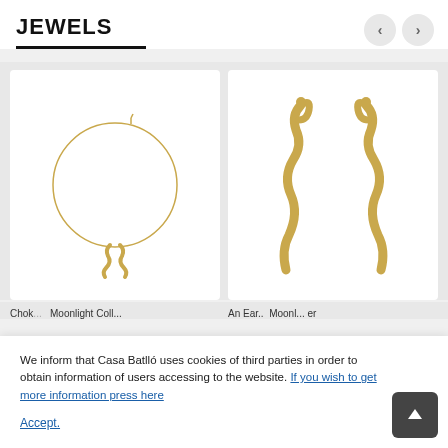JEWELS
[Figure (photo): Gold choker necklace with snake pendant on white background]
[Figure (photo): Pair of gold snake-shaped earrings on white background]
Chok... Moonlight Collection...
An Ear... Moonlight... er
We inform that Casa Batlló uses cookies of third parties in order to obtain information of users accessing to the website. If you wish to get more information press here
Accept.